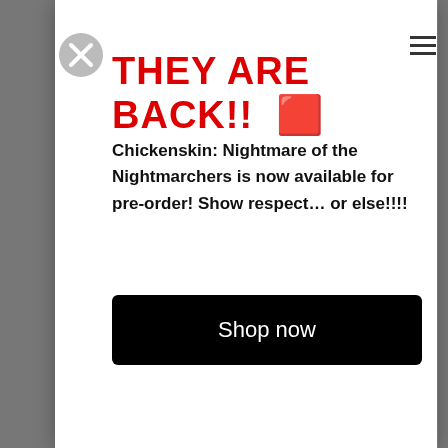THEY ARE BACK!! 🟥
Chickenskin: Nightmare of the Nightmarchers is now available for pre-order! Show respect… or else!!!!
Shop now